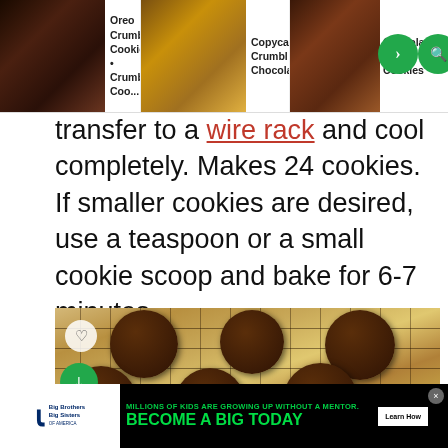[Figure (screenshot): Navigation bar with cookie recipe thumbnails: Oreo Crumbl Cookie, Copycat Crumbl Chocolate, and Chocolate chip cookies with next/search icons]
transfer to a wire rack and cool completely. Makes 24 cookies. If smaller cookies are desired, use a teaspoon or a small cookie scoop and bake for 6-7 minutes.
[Figure (photo): Chocolate cookies on a wire rack with butterscotch/chocolate chips, shown from above on a light wooden surface]
[Figure (screenshot): Advertisement banner: Big Brothers Big Sisters - Millions of kids are growing up without a mentor. Become a big today. Learn How.]